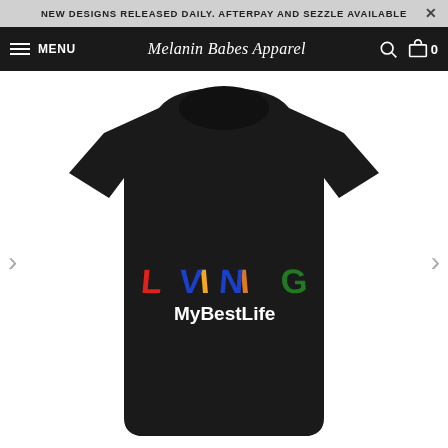NEW DESIGNS RELEASED DAILY. AFTERPAY AND SEZZLE AVAILABLE
MENU | Melanin Babes Apparel | 0
[Figure (photo): Black t-shirt with colorful 'LIVING MyBestLife' text graphic on the chest. 'LIVING' is spelled in multicolored letters (red L, blue V, orange I, blue N, green G) and 'MyBestLife' is written in white below.]